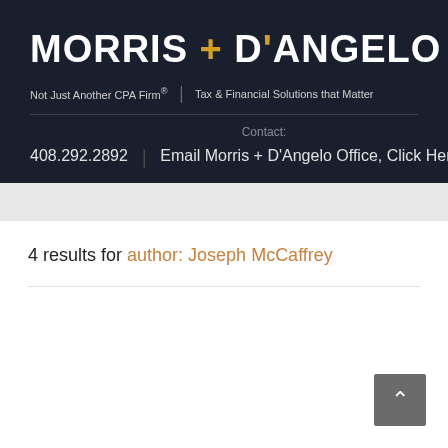MORRIS + D'ANGELO | Not Just Another CPA Firm® | Tax & Financial Solutions that Matter
Contact: 408.292.2892 | Email Morris + D'Angelo Office, Click Here
4 results for author: Joseph McCaffrey